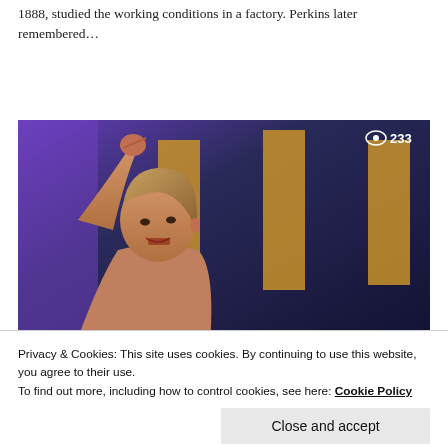1888, studied the working conditions in a factory. Perkins later remembered...
[Figure (photo): Woman with raised fist speaking at a podium, dark blue background with gold/yellow banner rectangles, view count '233' in top right corner]
Women Leading the Labor Movement: Sara Nelson
Sara Nelson has served as the International President of the Association of Flight Attendants-CWA, AFL-CIO since 2014. Th...
Privacy & Cookies: This site uses cookies. By continuing to use this website, you agree to their use.
To find out more, including how to control cookies, see here: Cookie Policy
Close and accept
[Figure (photo): Partial bottom image strip, dark grayscale, with partial text visible on right side]